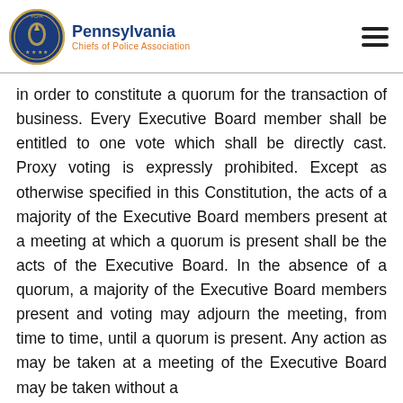Pennsylvania Chiefs of Police Association
in order to constitute a quorum for the transaction of business. Every Executive Board member shall be entitled to one vote which shall be directly cast. Proxy voting is expressly prohibited. Except as otherwise specified in this Constitution, the acts of a majority of the Executive Board members present at a meeting at which a quorum is present shall be the acts of the Executive Board. In the absence of a quorum, a majority of the Executive Board members present and voting may adjourn the meeting, from time to time, until a quorum is present. Any action as may be taken at a meeting of the Executive Board may be taken without a